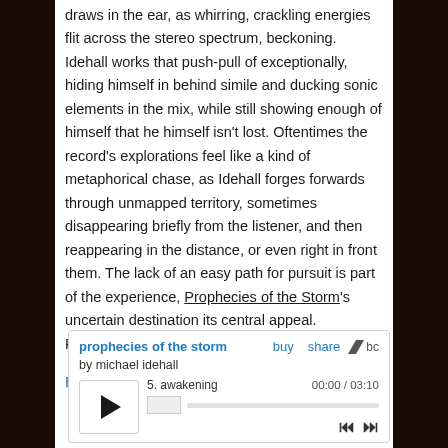draws in the ear, as whirring, crackling energies flit across the stereo spectrum, beckoning. Idehall works that push-pull of exceptionally, hiding himself in behind simile and ducking sonic elements in the mix, while still showing enough of himself that he himself isn't lost. Oftentimes the record's explorations feel like a kind of metaphorical chase, as Idehall forges forwards through unmapped territory, sometimes disappearing briefly from the listener, and then reappearing in the distance, or even right in front them. The lack of an easy path for pursuit is part of the experience, Prophecies of the Storm's uncertain destination its central appeal. Recommended.
Buy it.
[Figure (screenshot): Bandcamp embedded music player showing 'prophecies of the storm' by michael idehall, track 5 awakening, 00:00 / 03:10, with play button and navigation controls]